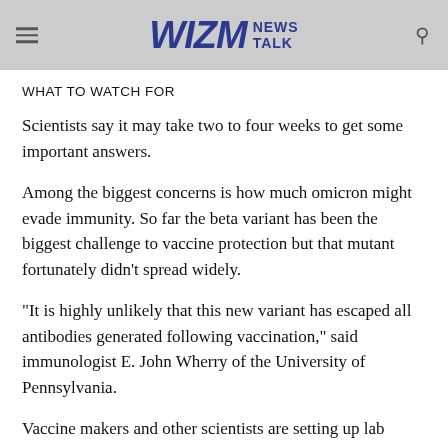WIZM NEWS TALK
WHAT TO WATCH FOR
Scientists say it may take two to four weeks to get some important answers.
Among the biggest concerns is how much omicron might evade immunity. So far the beta variant has been the biggest challenge to vaccine protection but that mutant fortunately didn’t spread widely.
“It is highly unlikely that this new variant has escaped all antibodies generated following vaccination,” said immunologist E. John Wherry of the University of Pennsylvania.
Vaccine makers and other scientists are setting up lab